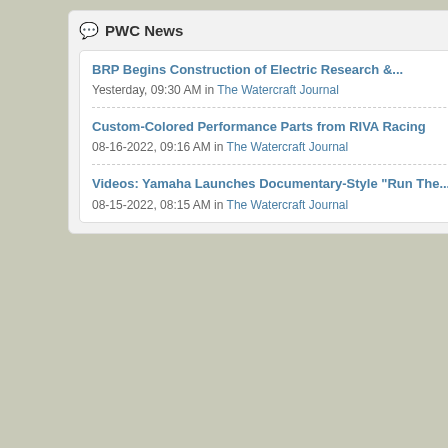PWC News
BRP Begins Construction of Electric Research &...
Yesterday, 09:30 AM in The Watercraft Journal
Custom-Colored Performance Parts from RIVA Racing
08-16-2022, 09:16 AM in The Watercraft Journal
Videos: Yamaha Launches Documentary-Style “Run The...”
08-15-2022, 08:15 AM in The Watercraft Journal
Join Date:
Location:
Posts:
Nov 2005
NY
142
Quick Navigation
« 2003 Kawa...
Thread Information
There are currently 1 use... members and 1 guests)
Similar Threads
07 Rxp First Ride Bad Su...
By 07 RXP in forum Sea Doo...
First Ride, couple questio...
By bryan428 in forum Polaris...